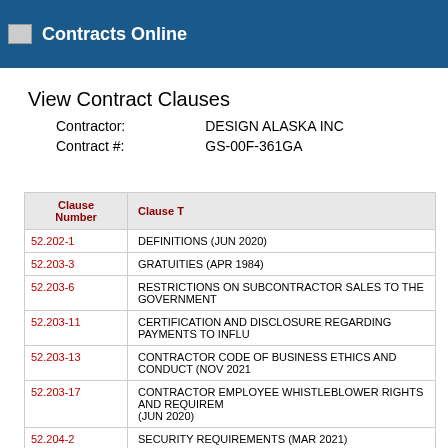Contracts Online
View Contract Clauses
Contractor: DESIGN ALASKA INC
Contract #: GS-00F-361GA
| Clause Number | Clause Title |
| --- | --- |
| 52.202-1 | DEFINITIONS (JUN 2020) |
| 52.203-3 | GRATUITIES (APR 1984) |
| 52.203-6 | RESTRICTIONS ON SUBCONTRACTOR SALES TO THE GOVERNMENT |
| 52.203-11 | CERTIFICATION AND DISCLOSURE REGARDING PAYMENTS TO INFLU… |
| 52.203-13 | CONTRACTOR CODE OF BUSINESS ETHICS AND CONDUCT (NOV 2021… |
| 52.203-17 | CONTRACTOR EMPLOYEE WHISTLEBLOWER RIGHTS AND REQUIREME… (JUN 2020) |
| 52.204-2 | SECURITY REQUIREMENTS (MAR 2021) |
| 52.204-4 | PRINTED OR COPIED DOUBLE-SIDED ON POSTCONSUMER FIBER CO… |
| 52.204-7 |  |